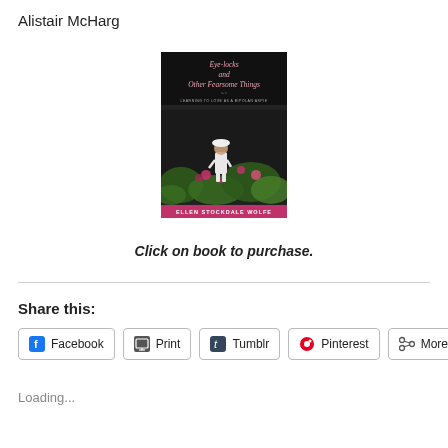Alistair McHarg
[Figure (illustration): Book cover for 'Eye-locks and Other Fearsome Things: Learning to Love as a Bipolar Aspie' by Ellen Stockdale Wolfe. Black background with pink/red title text, subtitle text, and a photograph of a child in a garden. Pink banner at bottom with author name in white.]
Click on book to purchase.
Share this:
Facebook
Print
Tumblr
Pinterest
More
Loading...